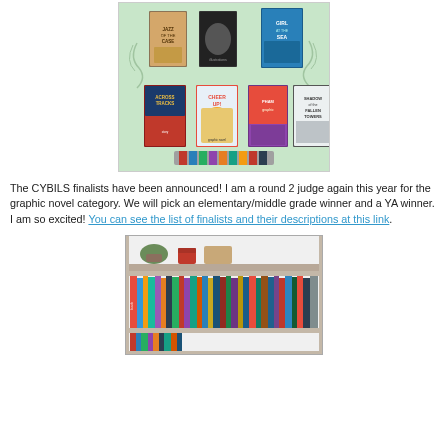[Figure (photo): CYBILS graphic novel finalists book covers arranged on a light green background, including titles: Across Tracks, Cheer Up!, Shadow of the Fallen Towers, and others]
The CYBILS finalists have been announced! I am a round 2 judge again this year for the graphic novel category. We will pick an elementary/middle grade winner and a YA winner. I am so excited! You can see the list of finalists and their descriptions at this link.
[Figure (photo): A white bookshelf filled with many colorful books, with some decorative items on the top shelf including a plant and a vase]